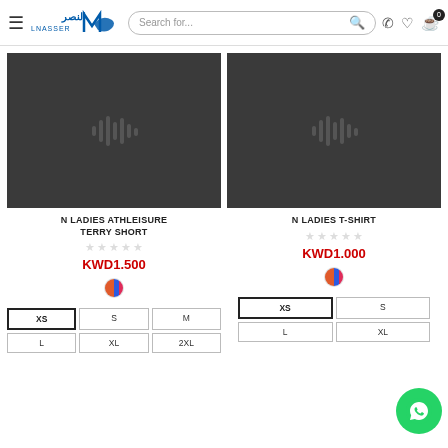Alnasser — Navigation header with logo, search bar, and cart icon
[Figure (photo): Dark grey product image placeholder for N Ladies Athleisure Terry Short, with audio waveform icon]
[Figure (photo): Dark grey product image placeholder for N Ladies T-Shirt, with audio waveform icon]
N LADIES ATHLEISURE TERRY SHORT
KWD1.500
N LADIES T-SHIRT
KWD1.000